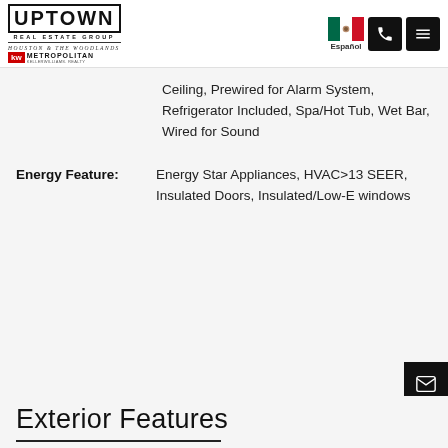Uptown Real Estate Group - Houston & The Woodlands - KW Metropolitan Keller Williams Realty
Ceiling, Prewired for Alarm System, Refrigerator Included, Spa/Hot Tub, Wet Bar, Wired for Sound
Energy Feature: Energy Star Appliances, HVAC>13 SEER, Insulated Doors, Insulated/Low-E windows
Exterior Features